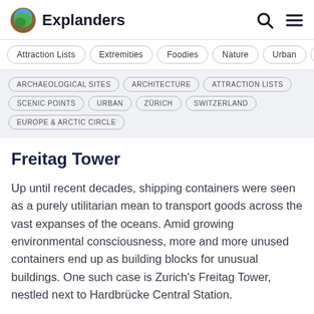Explanders
Attraction Lists
Extremities
Foodies
Nature
Urban
Ru...
ARCHAEOLOGICAL SITES
ARCHITECTURE
ATTRACTION LISTS
SCENIC POINTS
URBAN
ZÜRICH
SWITZERLAND
EUROPE & ARCTIC CIRCLE
Freitag Tower
Up until recent decades, shipping containers were seen as a purely utilitarian mean to transport goods across the vast expanses of the oceans. Amid growing environmental consciousness, more and more unused containers end up as building blocks for unusual buildings. One such case is Zurich's Freitag Tower, nestled next to Hardbrücke Central Station.
Towering 26 meters (85 feet) over the city's former